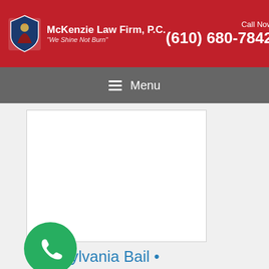McKenzie Law Firm, P.C. "We Shine Not Burn" | Call Now (610) 680-7842
Menu
[Figure (other): White rectangular content area placeholder]
Pennsylvania Bail •